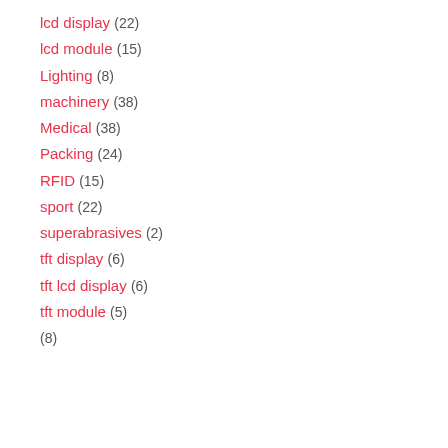lcd display (22)
lcd module (15)
Lighting (8)
machinery (38)
Medical (38)
Packing (24)
RFID (15)
sport (22)
superabrasives (2)
tft display (6)
tft lcd display (6)
tft module (5)
(8)